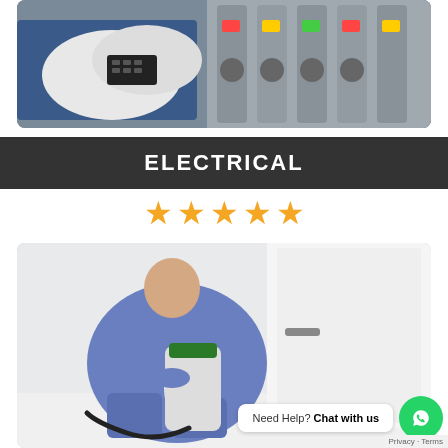[Figure (photo): Person wearing white protective gloves operating electrical equipment or control panel with colorful tags]
ELECTRICAL
[Figure (infographic): Five gold/orange star rating icons]
[Figure (photo): Person in blue protective suit kneeling and using a pump sprayer near white cabinet, pest control service]
Need Help? Chat with us
Privacy · Terms